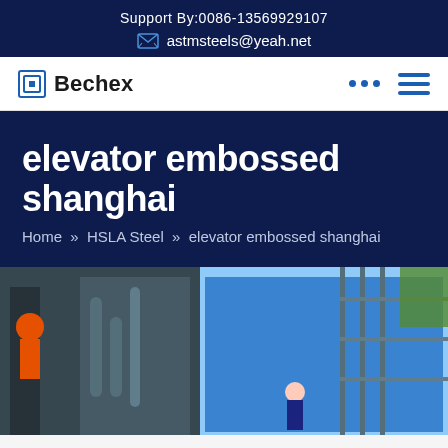Support By:0086-13569929107
astmsteels@yeah.net
Bechex
elevator embossed shanghai
Home » HSLA Steel » elevator embossed shanghai
[Figure (photo): Industrial construction site photo showing steel structures and materials covered with blue tarpaulin, with workers visible]